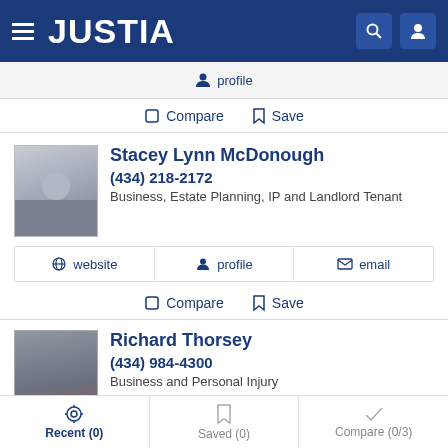JUSTIA
profile
Compare  Save
Stacey Lynn McDonough
(434) 218-2172
Business, Estate Planning, IP and Landlord Tenant
website  profile  email
Compare  Save
Richard Thorsey
(434) 984-4300
Business and Personal Injury
Recent (0)  Saved (0)  Compare (0/3)